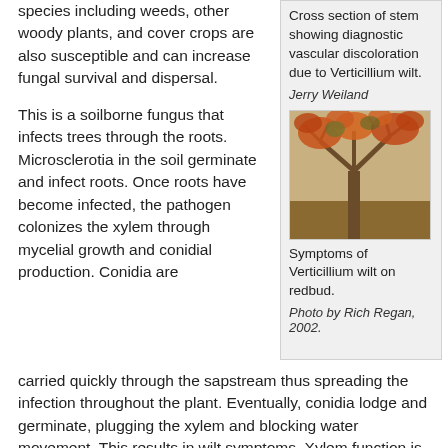species including weeds, other woody plants, and cover crops are also susceptible and can increase fungal survival and dispersal.
This is a soilborne fungus that infects trees through the roots. Microsclerotia in the soil germinate and infect roots. Once roots have become infected, the pathogen colonizes the xylem through mycelial growth and conidial production. Conidia are carried quickly through the sapstream thus spreading the infection throughout the plant. Eventually, conidia lodge and germinate, plugging the xylem and blocking water movement. This results in wilt symptoms. Xylem function is
Cross section of stem showing diagnostic vascular discoloration due to Verticillium wilt.
Jerry Weiland
[Figure (photo): Photo of a tree with Verticillium wilt symptoms on redbud, showing orange-brown foliage.]
Symptoms of Verticillium wilt on redbud.
Photo by Rich Regan, 2002.